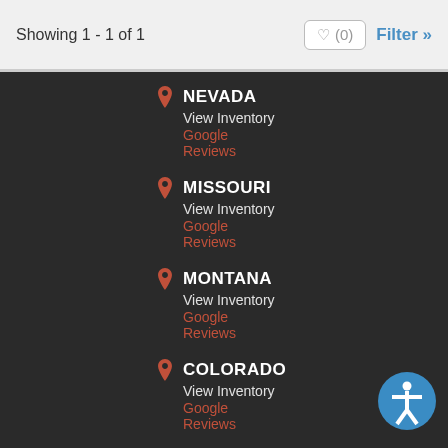Showing 1 - 1 of 1
NEVADA
View Inventory
Google
Reviews
MISSOURI
View Inventory
Google
Reviews
MONTANA
View Inventory
Google
Reviews
COLORADO
View Inventory
Google
Reviews